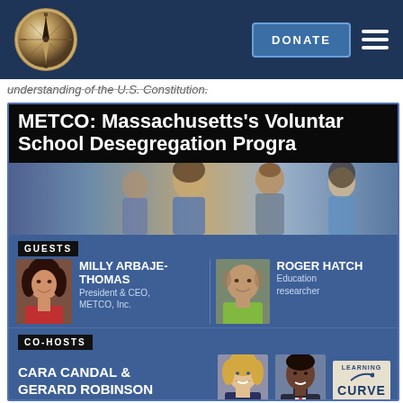[Figure (logo): Compass logo on dark blue navigation bar with DONATE button and hamburger menu]
understanding of the U.S. Constitution.
METCO: Massachusetts's Voluntary School Desegregation Program
[Figure (photo): Group of diverse young students smiling, used as background banner image]
GUESTS
[Figure (photo): Milly Arbaje-Thomas headshot - woman with dark hair]
MILLY ARBAJE-THOMAS
President & CEO, METCO, Inc.
[Figure (photo): Roger Hatch headshot - older man with bald head]
ROGER HATCH
Education researcher
CO-HOSTS
CARA CANDAL &
GERARD ROBINSON
[Figure (photo): Cara Candal headshot - blonde woman]
[Figure (photo): Gerard Robinson headshot - Black man in suit]
[Figure (logo): Learning Curve podcast logo]